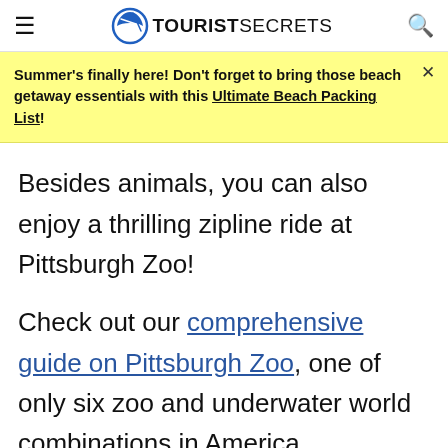TOURIST SECRETS
Summer's finally here! Don't forget to bring those beach getaway essentials with this Ultimate Beach Packing List!
Besides animals, you can also enjoy a thrilling zipline ride at Pittsburgh Zoo!
Check out our comprehensive guide on Pittsburgh Zoo, one of only six zoo and underwater world combinations in America.
[Figure (other): Image placeholder area at bottom of page]